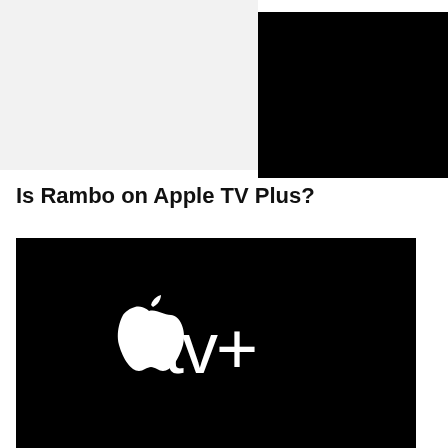[Figure (screenshot): Top section with light gray rectangle on left and black rectangle on right overlapping]
Is Rambo on Apple TV Plus?
[Figure (screenshot): Apple TV+ logo on black background with share icon button on right side]